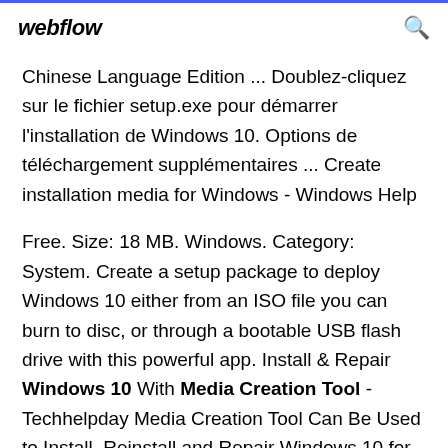webflow
Chinese Language Edition ... Doublez-cliquez sur le fichier setup.exe pour démarrer l'installation de Windows 10. Options de téléchargement supplémentaires ... Create installation media for Windows - Windows Help
Free. Size: 18 MB. Windows. Category: System. Create a setup package to deploy Windows 10 either from an ISO file you can burn to disc, or through a bootable USB flash drive with this powerful app. Install & Repair Windows 10 With Media Creation Tool - Techhelpday Media Creation Tool Can Be Used to Install, Reinstall and Repair Windows 10 for Free, or Open Media Creation Tool to Create The A...